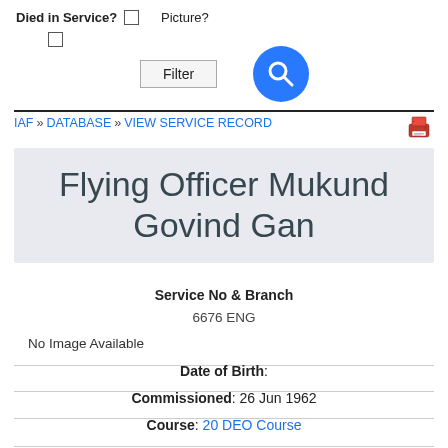Died in Service? ☐  Picture?  ☐
[Figure (screenshot): Filter button and blue search icon circle]
IAF » DATABASE » VIEW SERVICE RECORD
Flying Officer Mukund Govind Gan
Service No & Branch
6676 ENG
No Image Available
Date of Birth:
Commissioned: 26 Jun 1962
Course: 20 DEO Course